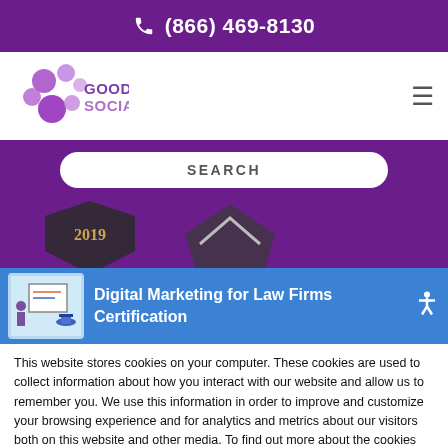(866) 469-8130
[Figure (logo): Good2BSocial logo with purple bubble clusters and stylized text]
[Figure (screenshot): Search bar with SEARCH label on purple background]
[Figure (screenshot): 2019 award badge and another badge on purple background]
[Figure (screenshot): Blue notification bar with thumbnail image and text 'Digital Marketing for Law Firms Certification' and accessibility icon]
This website stores cookies on your computer. These cookies are used to collect information about how you interact with our website and allow us to remember you. We use this information in order to improve and customize your browsing experience and for analytics and metrics about our visitors both on this website and other media. To find out more about the cookies we use, see our Privacy Policy.
Accept